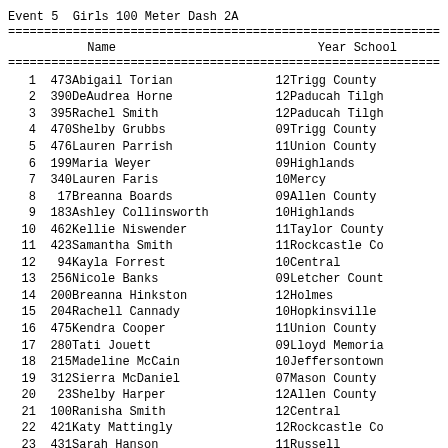Event 5  Girls 100 Meter Dash 2A
| Place | Bib | Name | Year | School |
| --- | --- | --- | --- | --- |
| 1 | 473 | Abigail Torian | 12 | Trigg County |
| 2 | 390 | DeAudrea Horne | 12 | Paducah Tilgh |
| 3 | 395 | Rachel Smith | 12 | Paducah Tilgh |
| 4 | 470 | Shelby Grubbs | 09 | Trigg County |
| 5 | 476 | Lauren Parrish | 11 | Union County |
| 6 | 199 | Maria Weyer | 09 | Highlands |
| 7 | 340 | Lauren Faris | 10 | Mercy |
| 8 | 17 | Breanna Boards | 09 | Allen County |
| 9 | 183 | Ashley Collinsworth | 10 | Highlands |
| 10 | 462 | Kellie Niswender | 11 | Taylor County |
| 11 | 423 | Samantha Smith | 11 | Rockcastle Co |
| 12 | 94 | Kayla Forrest | 10 | Central |
| 13 | 256 | Nicole Banks | 09 | Letcher Count |
| 14 | 200 | Breanna Hinkston | 12 | Holmes |
| 15 | 204 | Rachell Cannady | 10 | Hopkinsville |
| 16 | 475 | Kendra Cooper | 11 | Union County |
| 17 | 280 | Tati Jouett | 09 | Lloyd Memoria |
| 18 | 215 | Madeline McCain | 10 | Jeffersontown |
| 19 | 312 | Sierra McDaniel | 07 | Mason County |
| 20 | 23 | Shelby Harper | 12 | Allen County |
| 21 | 100 | Ranisha Smith | 12 | Central |
| 22 | 421 | Katy Mattingly | 12 | Rockcastle Co |
| 23 | 431 | Sarah Hanson | 11 | Russell |
| 24 | 171 | Alexis Seal | 12 | Harlan County |